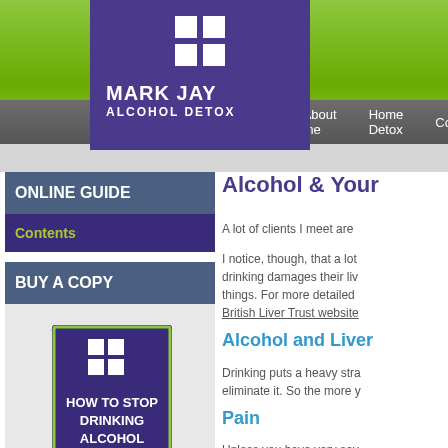[Figure (screenshot): Website screenshot for Mark Jay Alcohol Detox with green header, purple logo box with 4-square icon, navigation bar with Home, About me, Home Detox, Coun... links]
ONLINE GUIDE
Contents
BUY A COPY
[Figure (photo): Book cover: How to Stop Drinking Alcohol - A guide to alcohol problems & alcohol treatments, with purple cover and 4-square logo]
Alcohol & Your
A lot of clients I meet are
I notice, though, that a lot drinking damages their liv things. For more detailed British Liver Trust website
Alcohol and Liver
Drinking puts a heavy stra eliminate it. So the more y
Pain
Unless you have very sev